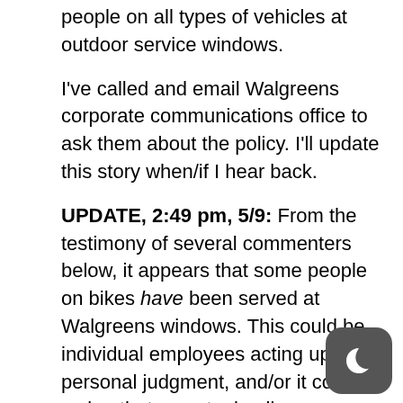people on all types of vehicles at outdoor service windows.
I've called and email Walgreens corporate communications office to ask them about the policy. I'll update this story when/if I hear back.
UPDATE, 2:49 pm, 5/9: From the testimony of several commenters below, it appears that some people on bikes have been served at Walgreens windows. This could be individual employees acting upon personal judgment, and/or it could be a sign that an actual policy preventing the company from serving bicycle riders doesn't exist.
UPDATE, 12:00 pm 5/10:: I've heard back from Graham from Walgreens corporate media relations